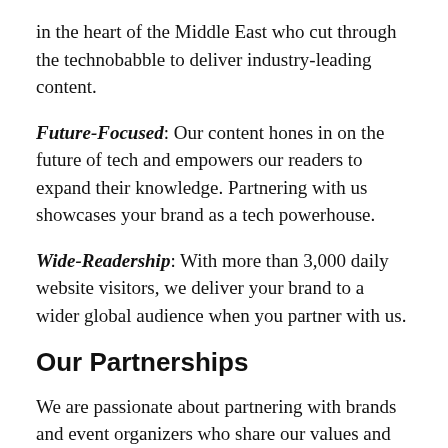in the heart of the Middle East who cut through the technobabble to deliver industry-leading content.
Future-Focused: Our content hones in on the future of tech and empowers our readers to expand their knowledge. Partnering with us showcases your brand as a tech powerhouse.
Wide-Readership: With more than 3,000 daily website visitors, we deliver your brand to a wider global audience when you partner with us.
Our Partnerships
We are passionate about partnering with brands and event organizers who share our values and focus. Event organizers benefit from a partnership with Tech Magazine thanks to our global reach, extensive readership, and shared focus for a future powered by